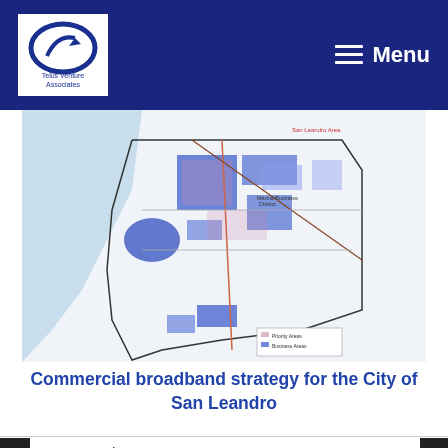Telus Venture Associates — Menu
[Figure (map): City map showing broadband priority areas and related zones for San Leandro, with blue shaded regions indicating broadband areas and pink/red areas indicating priority zones. Legend visible in lower left.]
Commercial broadband strategy for the City of San Leandro
[Figure (screenshot): Screenshot of a Central Coast Broadband Consortium slide titled 'Broadband projects update' dated 11 March 2016, showing a map of the central coast area with colored overlays.]